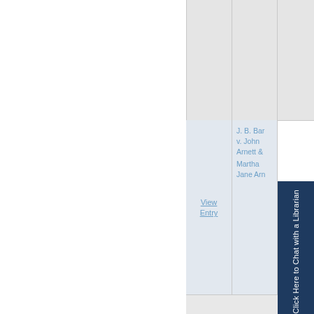| View Entry | Case Name |  |
| --- | --- | --- |
| View Entry | J. B. Bar v. John Arnett & Martha Jane Arn | Click Here to Chat with a Librarian |